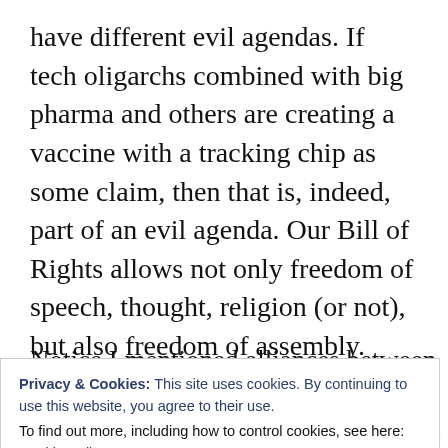have different evil agendas. If tech oligarchs combined with big pharma and others are creating a vaccine with a tracking chip as some claim, then that is, indeed, part of an evil agenda. Our Bill of Rights allows not only freedom of speech, thought, religion (or not), but also freedom of assembly. Without these rights, folks get anxious and fearful–perhaps that is what evil wants.
Notice I mentioned alliances between tech
Privacy & Cookies: This site uses cookies. By continuing to use this website, you agree to their use.
To find out more, including how to control cookies, see here:
Cookie Policy
Close and accept
Blessing (The Prophesied Band) and Mark